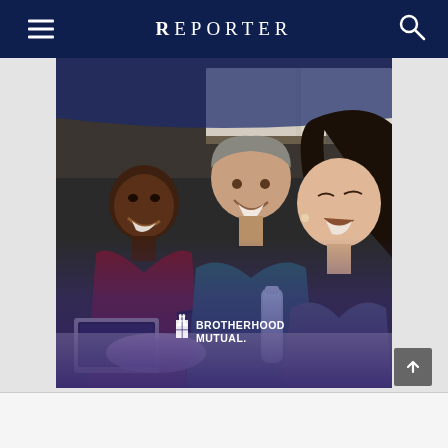REPORTER
[Figure (photo): Three diverse colleagues laughing and working together at a meeting table with a laptop, notebook, and water bottle. A Brotherhood Mutual insurance logo overlay appears in the lower center of the image with a purple/blue gradient at the bottom.]
[Figure (logo): Brotherhood Mutual logo with church window icon and text BROTHERHOOD MUTUAL.]